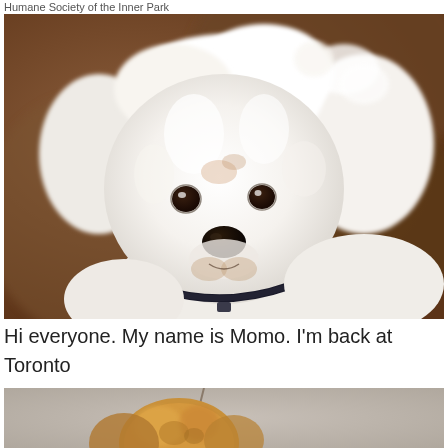Humane Society of the Inner Park
[Figure (photo): Close-up photo of a fluffy white small dog (Bichon Frise or similar breed) with dark eyes and a black nose, wearing a black collar, looking up at the camera. Blurred brown background.]
Hi everyone. My name is Momo. I'm back at Toronto Animal
[Figure (photo): Partial photo of a small golden/tan colored dog, only the top of the head visible, with a leash against a grey wall background.]